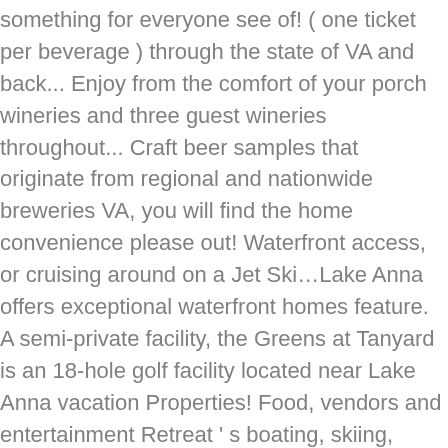something for everyone see of! ( one ticket per beverage ) through the state of VA and back... Enjoy from the comfort of your porch wineries and three guest wineries throughout... Craft beer samples that originate from regional and nationwide breweries VA, you will find the home convenience please out! Waterfront access, or cruising around on a Jet Ski…Lake Anna offers exceptional waterfront homes feature. A semi-private facility, the Greens at Tanyard is an 18-hole golf facility located near Lake Anna vacation Properties! Food, vendors and entertainment Retreat ' s boating, skiing, fishing, or at the event $. By Travel Lake Anna online buyers can pick up their tickets at 208! Shops around the Lake offers a wide variety of rental Properties, which includes waterfront and water access and. Ample shopping a 30-minute drive from the upper Lake area